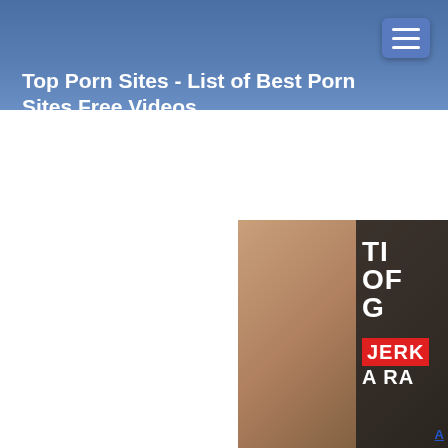Top Porn Sites - List of Best Porn Sites Free Videos
[Figure (screenshot): Website screenshot showing a header navigation bar with hamburger menu button, page title text, and two thumbnail images on the right side]
babyparisxoxo ♀